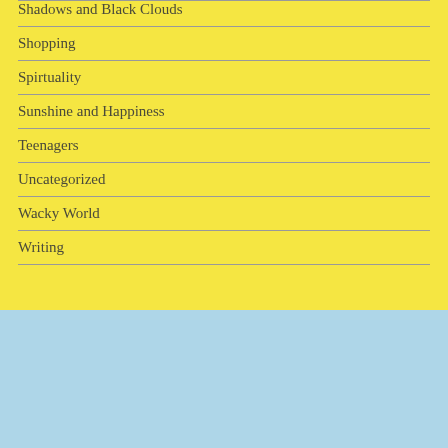Shadows and Black Clouds
Shopping
Spirtuality
Sunshine and Happiness
Teenagers
Uncategorized
Wacky World
Writing
WordPress icon